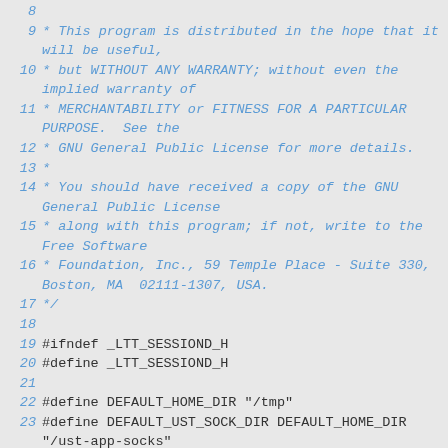8  (partial line at top)
9  * This program is distributed in the hope that it will be useful,
10  * but WITHOUT ANY WARRANTY; without even the implied warranty of
11  * MERCHANTABILITY or FITNESS FOR A PARTICULAR PURPOSE.  See the
12  * GNU General Public License for more details.
13  *
14  * You should have received a copy of the GNU General Public License
15  * along with this program; if not, write to the Free Software
16  * Foundation, Inc., 59 Temple Place - Suite 330, Boston, MA  02111-1307, USA.
17  */
18
19 #ifndef _LTT_SESSIOND_H
20 #define _LTT_SESSIOND_H
21
22 #define DEFAULT_HOME_DIR "/tmp"
23 #define DEFAULT_UST_SOCK_DIR DEFAULT_HOME_DIR "/ust-app-socks"
24 #define DEFAULT_GLOBAL_APPS_PIPE